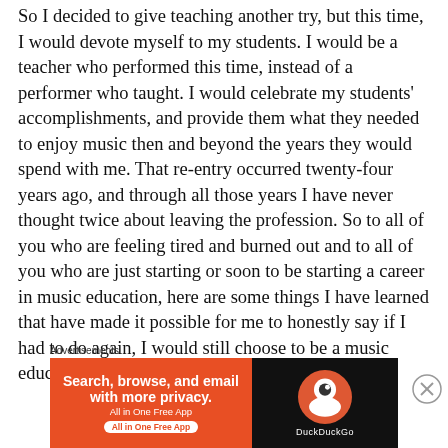So I decided to give teaching another try, but this time, I would devote myself to my students. I would be a teacher who performed this time, instead of a performer who taught. I would celebrate my students' accomplishments, and provide them what they needed to enjoy music then and beyond the years they would spend with me. That re-entry occurred twenty-four years ago, and through all those years I have never thought twice about leaving the profession. So to all of you who are feeling tired and burned out and to all of you who are just starting or soon to be starting a career in music education, here are some things I have learned that have made it possible for me to honestly say if I had to do again, I would still choose to be a music educator.
[Figure (other): Advertisement banner: DuckDuckGo ad with orange left section reading 'Search, browse, and email with more privacy. All in One Free App' and dark right section with DuckDuckGo logo and text 'DuckDuckGo']